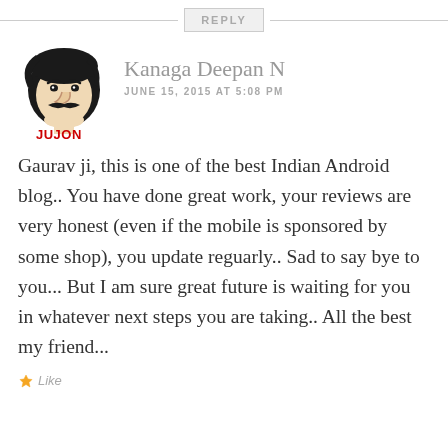REPLY
Kanaga Deepan N
JUNE 15, 2015 AT 5:08 PM
[Figure (illustration): Cartoon avatar of a man with dark hair and mustache, labeled JUJON in red text]
Gaurav ji, this is one of the best Indian Android blog.. You have done great work, your reviews are very honest (even if the mobile is sponsored by some shop), you update reguarly.. Sad to say bye to you... But I am sure great future is waiting for you in whatever next steps you are taking.. All the best my friend...
Like